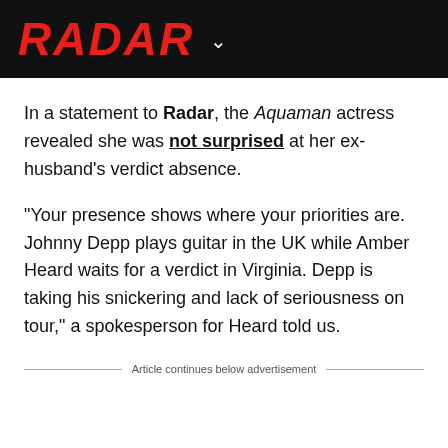RADAR
In a statement to Radar, the Aquaman actress revealed she was not surprised at her ex-husband's verdict absence.
"Your presence shows where your priorities are. Johnny Depp plays guitar in the UK while Amber Heard waits for a verdict in Virginia. Depp is taking his snickering and lack of seriousness on tour," a spokesperson for Heard told us.
Article continues below advertisement